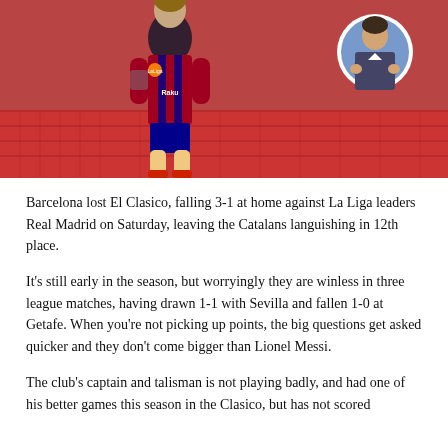[Figure (photo): A Barcelona footballer in red and blue striped kit walking on the pitch, with a circular inset portrait of a man in a suit in the top right corner, stadium seats visible in the background.]
Barcelona lost El Clasico, falling 3-1 at home against La Liga leaders Real Madrid on Saturday, leaving the Catalans languishing in 12th place.
It's still early in the season, but worryingly they are winless in three league matches, having drawn 1-1 with Sevilla and fallen 1-0 at Getafe. When you're not picking up points, the big questions get asked quicker and they don't come bigger than Lionel Messi.
The club's captain and talisman is not playing badly, and had one of his better games this season in the Clasico, but has not scored